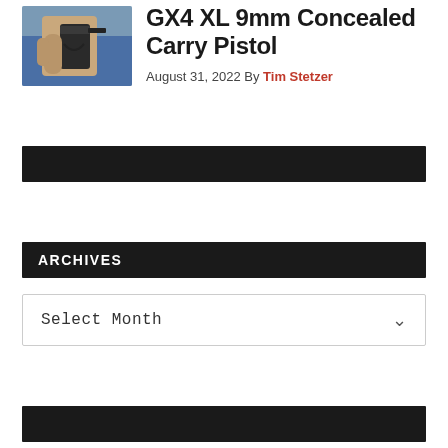[Figure (photo): Thumbnail photo of a person holding a handgun/pistol]
GX4 XL 9mm Concealed Carry Pistol
August 31, 2022 By Tim Stetzer
ARCHIVES
Select Month